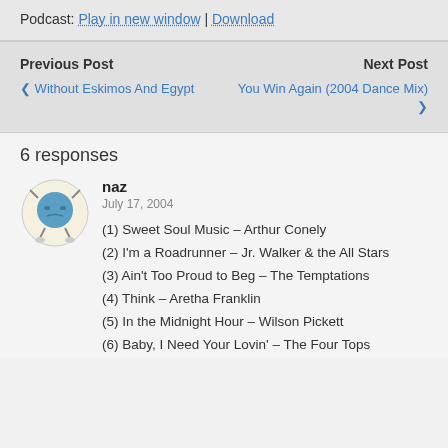Podcast: Play in new window | Download
Previous Post   Next Post   < Without Eskimos And Egypt   You Win Again (2004 Dance Mix) >
6 responses
naz
July 17, 2004
(1) Sweet Soul Music – Arthur Conely
(2) I'm a Roadrunner – Jr. Walker & the All Stars
(3) Ain't Too Proud to Beg – The Temptations
(4) Think – Aretha Franklin
(5) In the Midnight Hour – Wilson Pickett
(6) Baby, I Need Your Lovin' – The Four Tops